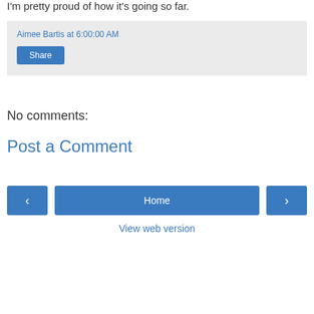I'm pretty proud of how it's going so far.
Aimee Bartis at 6:00:00 AM
Share
No comments:
Post a Comment
‹
Home
›
View web version